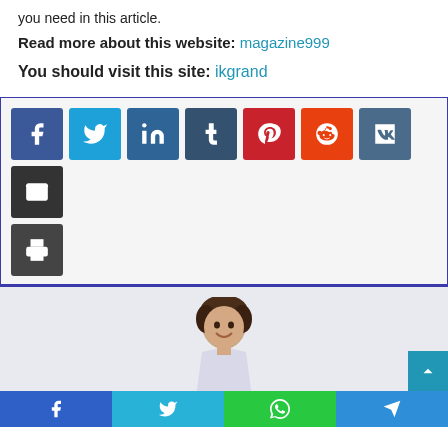you need in this article.
Read more about this website: magazine999
You should visit this site: ikgrand
[Figure (infographic): Social media share buttons: Facebook, Twitter, LinkedIn, Tumblr, Pinterest, Reddit, VK, Email, Print]
[Figure (photo): Smiling man with curly dark hair, white shirt]
Facebook | Twitter | WhatsApp | Telegram share bar